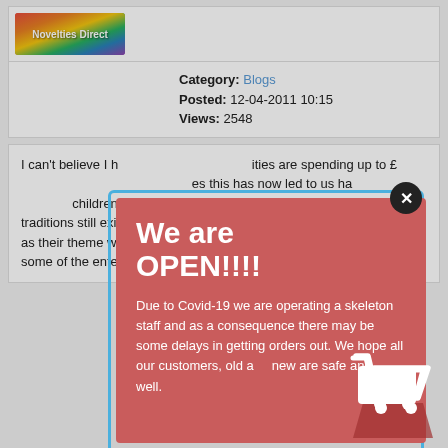[Figure (logo): Novelties Direct logo with colorful balloon/party imagery]
Category: Blogs
Posted: 12-04-2011 10:15
Views: 2548
We are OPEN!!!!

Due to Covid-19 we are operating a skeleton staff and as a consequence there may be some delays in getting orders out. We hope all our customers, old and new are safe and well.
I can't believe I h... spending up to £... now led to us ha... childrens birthday parties ... t of traditions still exist especially children wanting their favourite character as their theme with the Invitations and Tableware matching but maybe some of the entertainment has now become